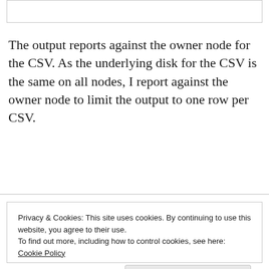The output reports against the owner node for the CSV. As the underlying disk for the CSV is the same on all nodes, I report against the owner node to limit the output to one row per CSV.
Privacy & Cookies: This site uses cookies. By continuing to use this website, you agree to their use. To find out more, including how to control cookies, see here: Cookie Policy
Close and accept